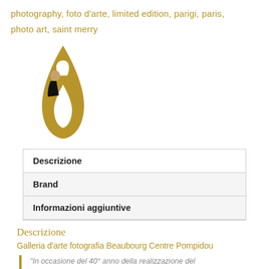photography, foto d'arte, limited edition, parigi, paris, photo art, saint merry
[Figure (logo): Gold teardrop/flame logo with a man peeking from behind it]
| Descrizione |
| Brand |
| Informazioni aggiuntive |
Descrizione
Galleria d'arte fotografia Beaubourg Centre Pompidou
"In occasione del 40° anno della realizzazione del Beaubourg ho voluto dare il mio contributo con